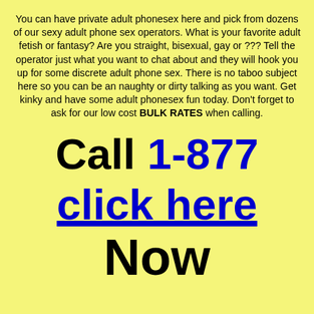You can have private adult phonesex here and pick from dozens of our sexy adult phone sex operators. What is your favorite adult fetish or fantasy? Are you straight, bisexual, gay or ??? Tell the operator just what you want to chat about and they will hook you up for some discrete adult phone sex. There is no taboo subject here so you can be an naughty or dirty talking as you want. Get kinky and have some adult phonesex fun today. Don't forget to ask for our low cost BULK RATES when calling.
Call 1-877
click here
Now